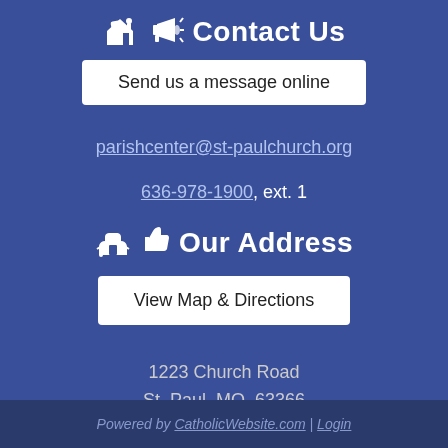Contact Us
Send us a message online
parishcenter@st-paulchurch.org
636-978-1900, ext. 1
Our Address
View Map & Directions
1223 Church Road
St. Paul, MO  63366
Powered by CatholicWebsite.com | Login